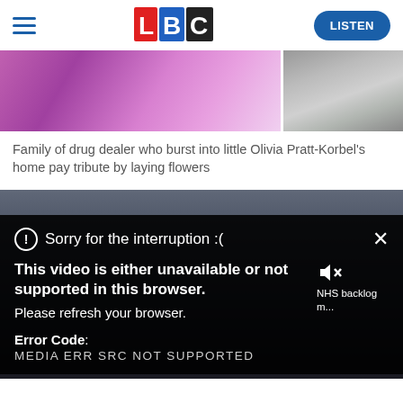LBC — LISTEN
[Figure (photo): Two photos side by side: left shows a person under pink/purple stage lighting; right shows flowers laid on the ground.]
Family of drug dealer who burst into little Olivia Pratt-Korbel's home pay tribute by laying flowers
[Figure (screenshot): Video player error overlay on a dark city building background. Error message reads: Sorry for the interruption :( — This video is either unavailable or not supported in this browser. Please refresh your browser. Error Code: MEDIA ERR SRC NOT SUPPORTED. Also shows mute icon and partial text 'NHS backlog m...']